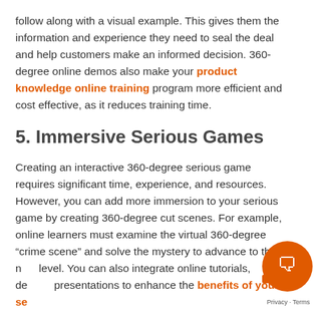follow along with a visual example. This gives them the information and experience they need to seal the deal and help customers make an informed decision. 360-degree online demos also make your product knowledge online training program more efficient and cost effective, as it reduces training time.
5. Immersive Serious Games
Creating an interactive 360-degree serious game requires significant time, experience, and resources. However, you can add more immersion to your serious game by creating 360-degree cut scenes. For example, online learners must examine the virtual 360-degree “crime scene” and solve the mystery to advance to the next level. You can also integrate online tutorials, demos, presentations to enhance the benefits of your serious game.